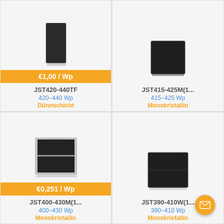[Figure (photo): Solar panel product image - tall dark panel (JST420-440TF)]
€1,00 / Wp
JST420-440TF
420−440 Wp
Dünnschicht
[Figure (photo): Solar panel product image - dark rectangular panel (JST415-425M)]
JST415-425M(1...
415−425 Wp
Monokristallin
[Figure (photo): Solar panel product image - silver-framed panel (JST400-430M)]
€0,251 / Wp
JST400-430M(1...
400−430 Wp
Monokristallin
[Figure (photo): Solar panel product image - dark panel with grid lines (JST390-410W)]
JST390-410W(1...
390−410 Wp
Monokristallin